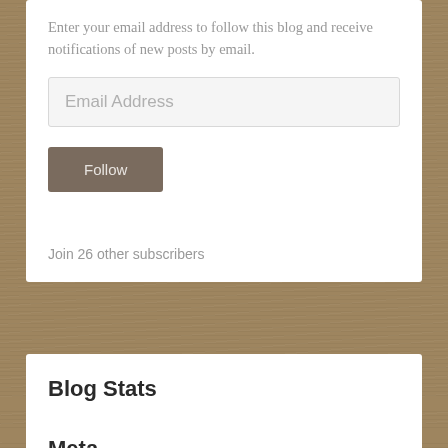Enter your email address to follow this blog and receive notifications of new posts by email.
Email Address
Follow
Join 26 other subscribers
Blog Stats
159,445 hits
Meta